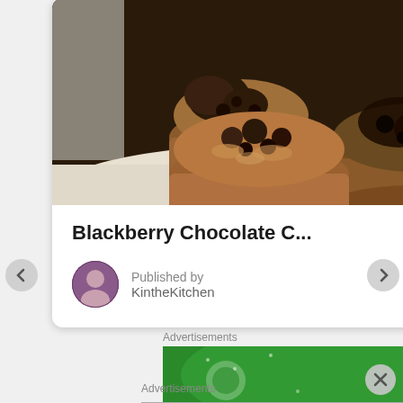[Figure (photo): Photo of blackberry chocolate chip muffins on a white surface]
Blackberry Chocolate C...
Published by KintheKitchen
Advertisements
[Figure (photo): Green advertisement banner]
Advertisements
[Figure (photo): ULTA beauty advertisement banner with makeup images and SHOP NOW button]